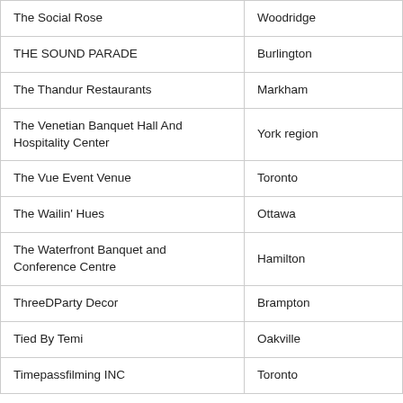| Name | Location |
| --- | --- |
| The Social Rose | Woodridge |
| THE SOUND PARADE | Burlington |
| The Thandur Restaurants | Markham |
| The Venetian Banquet Hall And Hospitality Center | York region |
| The Vue Event Venue | Toronto |
| The Wailin' Hues | Ottawa |
| The Waterfront Banquet and Conference Centre | Hamilton |
| ThreeDParty Decor | Brampton |
| Tied By Temi | Oakville |
| Timepassfilming INC | Toronto |